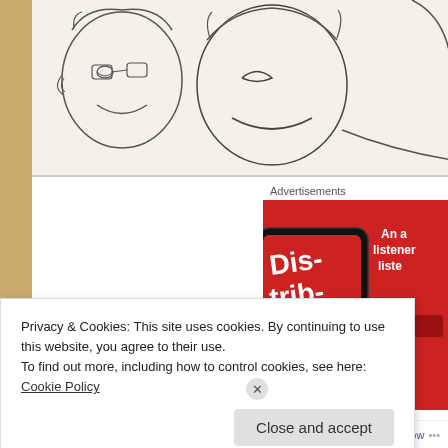[Figure (illustration): Hand-drawn sketch illustration showing cartoon faces/characters — partial view of faces with smiling expressions, drawn in black and white line art style]
Advertisements
[Figure (photo): Red advertisement banner showing a smartphone displaying a podcast app with the text 'Dis-trib-uted' on screen. White bold text on right side reads 'An a listener liste' (partially cropped). A dark red 'Downl' button visible (cropped). Red background.]
Privacy & Cookies: This site uses cookies. By continuing to use this website, you agree to their use.
To find out more, including how to control cookies, see here: Cookie Policy
Close and accept